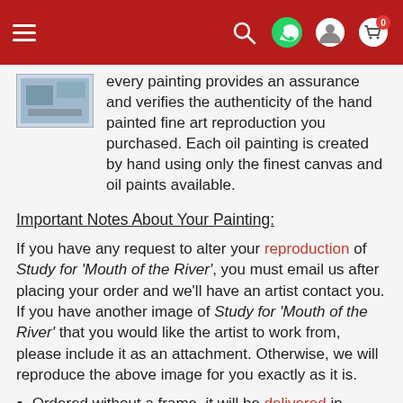Navigation bar with hamburger menu, search, WhatsApp, account, and cart icons
every painting provides an assurance and verifies the authenticity of the hand painted fine art reproduction you purchased. Each oil painting is created by hand using only the finest canvas and oil paints available.
Important Notes About Your Painting:
If you have any request to alter your reproduction of Study for 'Mouth of the River', you must email us after placing your order and we'll have an artist contact you. If you have another image of Study for 'Mouth of the River' that you would like the artist to work from, please include it as an attachment. Otherwise, we will reproduce the above image for you exactly as it is.
Ordered without a frame, it will be delivered in protective tube within 21-28 business days.